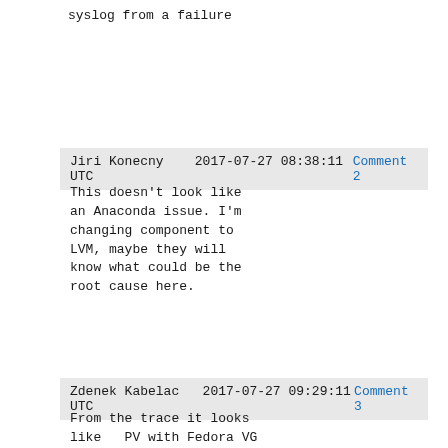syslog from a failure
Jiri Konecny    2017-07-27 08:38:11 UTC    Comment 2
This doesn't look like an Anaconda issue. I'm changing component to LVM, maybe they will know what could be the root cause here.
Zdenek Kabelac    2017-07-27 09:29:11 UTC    Comment 3
From the trace it looks like   PV with Fedora VG is found on a multiple leg device, then it's dropped  and lvmetad is confused ?

2 things to try out: